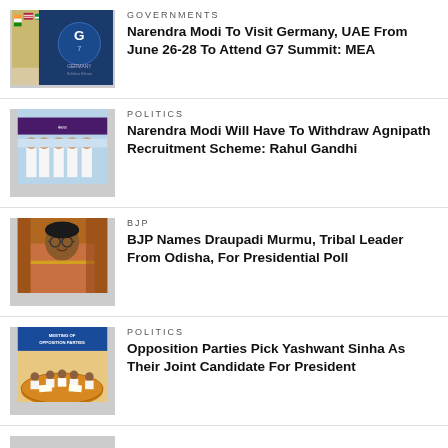[Figure (photo): G7 summit flags photo with G7 Germany branding]
GOVERNMENTS
Narendra Modi To Visit Germany, UAE From June 26-28 To Attend G7 Summit: MEA
[Figure (photo): Political gathering photo with people in white clothes]
POLITICS
Narendra Modi Will Have To Withdraw Agnipath Recruitment Scheme: Rahul Gandhi
[Figure (photo): Portrait of Draupadi Murmu in orange saree]
BJP
BJP Names Draupadi Murmu, Tribal Leader From Odisha, For Presidential Poll
[Figure (photo): Meeting of opposition parties conference room photo]
POLITICS
Opposition Parties Pick Yashwant Sinha As Their Joint Candidate For President
[Figure (photo): Partial photo at bottom of page]